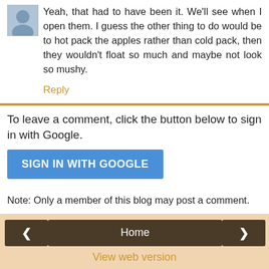[Figure (photo): Small avatar/profile photo of a person in the top left corner]
Yeah, that had to have been it. We'll see when I open them. I guess the other thing to do would be to hot pack the apples rather than cold pack, then they wouldn't float so much and maybe not look so mushy.
Reply
To leave a comment, click the button below to sign in with Google.
SIGN IN WITH GOOGLE
Note: Only a member of this blog may post a comment.
Home
View web version
About Me